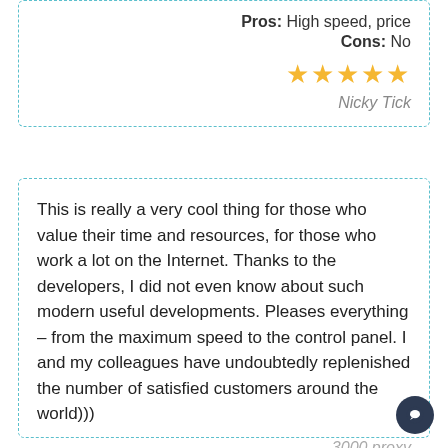Pros: High speed, price
Cons: No
[Figure (other): 5 gold stars rating]
Nicky Tick
This is really a very cool thing for those who value their time and resources, for those who work a lot on the Internet. Thanks to the developers, I did not even know about such modern useful developments. Pleases everything – from the maximum speed to the control panel. I and my colleagues have undoubtedly replenished the number of satisfied customers around the world)))
3000 proxy
[Figure (other): 5 gold stars rating]